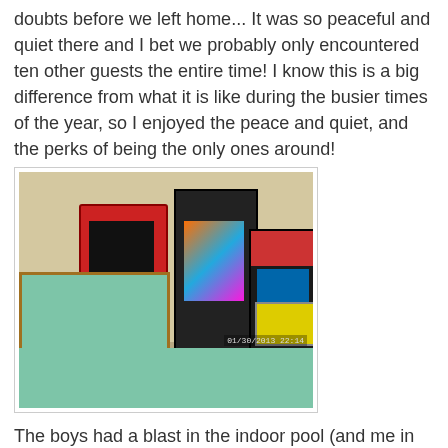doubts before we left home... It was so peaceful and quiet there and I bet we probably only encountered ten other guests the entire time! I know this is a big difference from what it is like during the busier times of the year, so I enjoyed the peace and quiet, and the perks of being the only ones around!
[Figure (photo): Indoor game room with a pool table in the foreground and three arcade machines against the wall. Timestamp reads 01/30/2013 22:14.]
The boys had a blast in the indoor pool (and me in the hot tub LOL!), even though us adults thought it was freeeeeezing! I swear, my kids would swim outside in the snow if there was a pool out there! They just don't care! We really liked the fact that the indoor pool was open 24 hours. It